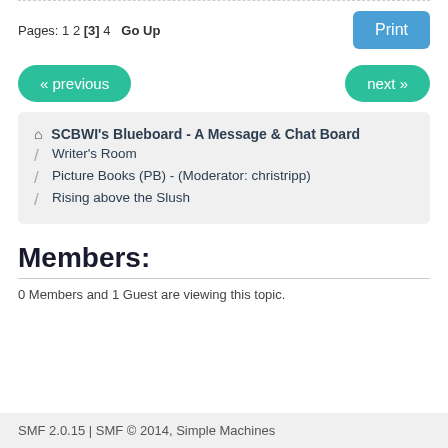Pages: 1 2 [3] 4   Go Up
Print
« previous
next »
🏠 SCBWI's Blueboard - A Message & Chat Board / Writer's Room / Picture Books (PB) - (Moderator: christripp) / Rising above the Slush
Members:
0 Members and 1 Guest are viewing this topic.
SMF 2.0.15 | SMF © 2014, Simple Machines